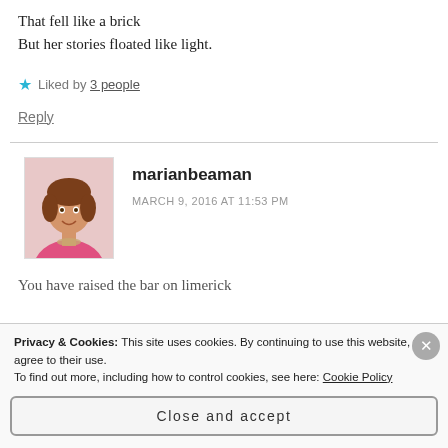That fell like a brick
But her stories floated like light.
Liked by 3 people
Reply
marianbeaman
MARCH 9, 2016 AT 11:53 PM
You have raised the bar on limerick
Privacy & Cookies: This site uses cookies. By continuing to use this website, you agree to their use. To find out more, including how to control cookies, see here: Cookie Policy
Close and accept